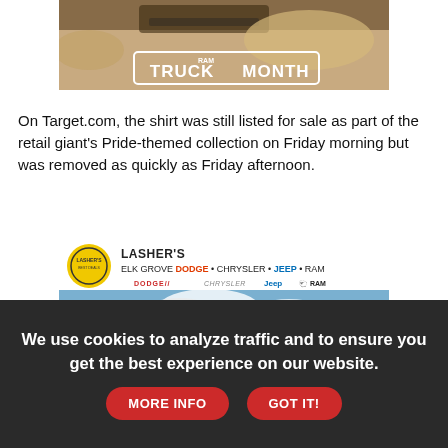[Figure (photo): RAM Truck Month advertisement banner showing a truck in dusty terrain with 'RAM TRUCK MONTH' badge overlay]
On Target.com, the shirt was still listed for sale as part of the retail giant's Pride-themed collection on Friday morning but was removed as quickly as Friday afternoon.
[Figure (photo): Lasher's Elk Grove Dodge, Chrysler, Jeep, RAM dealership advertisement showing a red truck on a mountain road]
We use cookies to analyze traffic and to ensure you get the best experience on our website. MORE INFO GOT IT!